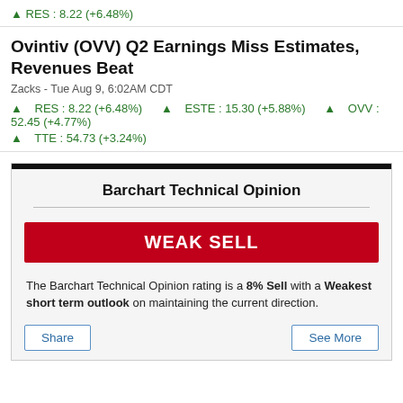▲ RES : 8.22 (+6.48%)
Ovintiv (OVV) Q2 Earnings Miss Estimates, Revenues Beat
Zacks - Tue Aug 9, 6:02AM CDT
▲ RES : 8.22 (+6.48%)  ▲ ESTE : 15.30 (+5.88%)  ▲ OVV : 52.45 (+4.77%)
▲ TTE : 54.73 (+3.24%)
Barchart Technical Opinion
WEAK SELL
The Barchart Technical Opinion rating is a 8% Sell with a Weakest short term outlook on maintaining the current direction.